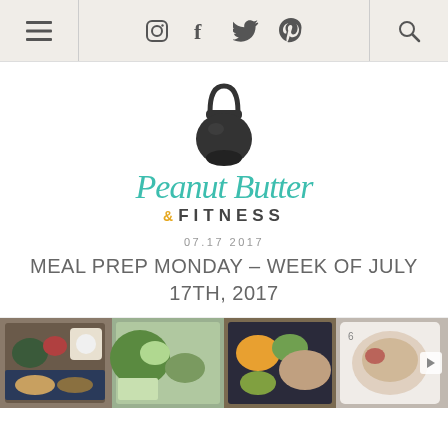Navigation bar with hamburger menu, Instagram, Facebook, Twitter, Pinterest icons, and search icon
[Figure (logo): Peanut Butter & Fitness logo: kettlebell icon above cursive teal 'Peanut Butter' text with '& FITNESS' below in dark bold caps and gold ampersand]
07.17 2017
MEAL PREP MONDAY – WEEK OF JULY 17TH, 2017
[Figure (photo): Horizontal strip of meal prep photos showing various prepared food containers with salads, grains, roasted vegetables, and grilled meats]